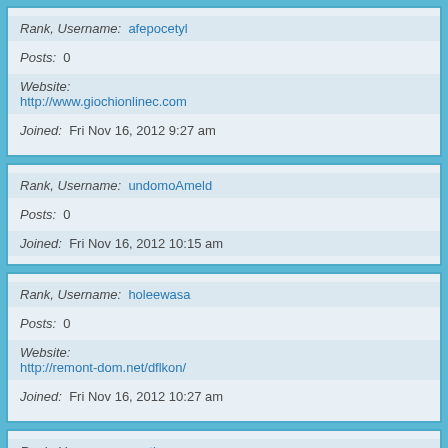Rank, Username: afepocetyl
Posts: 0
Website: http://www.giochionlinec.com
Joined: Fri Nov 16, 2012 9:27 am
Rank, Username: undomoAmeld
Posts: 0
Joined: Fri Nov 16, 2012 10:15 am
Rank, Username: holeewasa
Posts: 0
Website: http://remont-dom.net/dflkon/
Joined: Fri Nov 16, 2012 10:27 am
Rank, Username: nectlymn
Posts: 0
Website: http://solnyshko.in.ua/
Joined: Fri Nov 16, 2012 10:58 am
Rank, Username: Tenay4139
Posts: 0